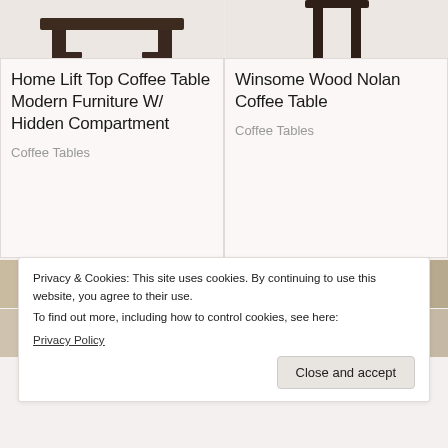[Figure (photo): Partial view of dark wood coffee table legs/base, cropped at top]
[Figure (photo): Partial view of dark wood coffee table, cropped at top]
Home Lift Top Coffee Table Modern Furniture W/ Hidden Compartment
Coffee Tables
Winsome Wood Nolan Coffee Table
Coffee Tables
[Figure (photo): Living room scene with coffee table, partially visible]
[Figure (photo): Living room scene with coffee table, partially visible]
Privacy & Cookies: This site uses cookies. By continuing to use this website, you agree to their use.
To find out more, including how to control cookies, see here:
Privacy Policy
Close and accept